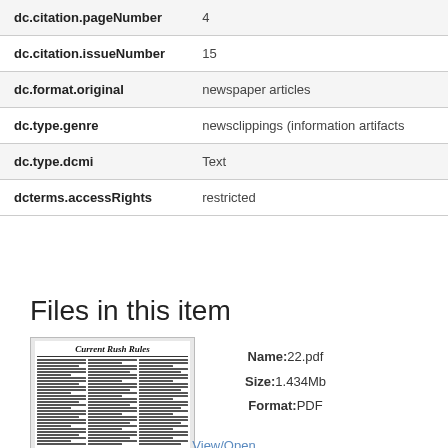| Field | Value |
| --- | --- |
| dc.citation.pageNumber | 4 |
| dc.citation.issueNumber | 15 |
| dc.format.original | newspaper articles |
| dc.type.genre | newsclippings (information artifacts |
| dc.type.dcmi | Text |
| dcterms.accessRights | restricted |
Files in this item
[Figure (photo): Thumbnail of newspaper page with title 'Current Rush Rules']
Name:22.pdf
Size:1.434Mb
Format:PDF
View/Open